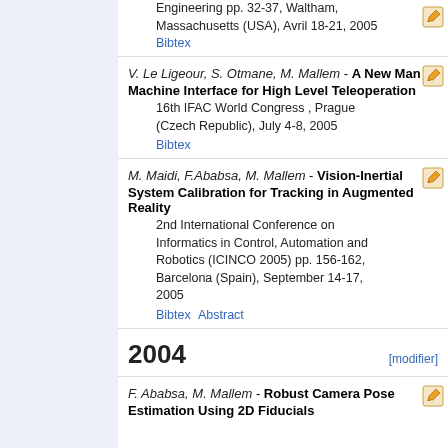Engineering pp. 32-37, Waltham, Massachusetts (USA), Avril 18-21, 2005
Bibtex
V. Le Ligeour, S. Otmane, M. Mallem - A New Man Machine Interface for High Level Teleoperation
16th IFAC World Congress , Prague (Czech Republic), July 4-8, 2005
Bibtex
M. Maidi, F.Ababsa, M. Mallem - Vision-Inertial System Calibration for Tracking in Augmented Reality
2nd International Conference on Informatics in Control, Automation and Robotics (ICINCO 2005) pp. 156-162, Barcelona (Spain), September 14-17, 2005
Bibtex Abstract
2004
F. Ababsa, M. Mallem - Robust Camera Pose Estimation Using 2D Fiducials